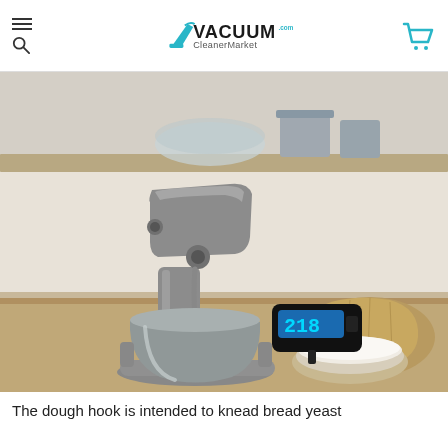VACUUMCleanerMarket.com
[Figure (photo): A silver KitchenAid stand mixer with a stainless steel bowl on a kitchen counter, with a bowl of flour and a burlap sack of flour to the right, and glass bowls with ingredients on a shelf in the background. A digital timer/scale with blue LCD display showing '218' is visible beside the mixer.]
The dough hook is intended to knead bread yeast